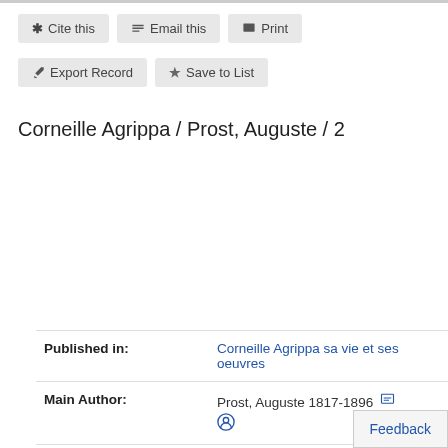Cite this | Email this | Print | Export Record | Save to List
Corneille Agrippa / Prost, Auguste / 2
| Field | Value |
| --- | --- |
| Published in: | Corneille Agrippa sa vie et ses oeuvres |
| Main Author: | Prost, Auguste 1817-1896 |
| Format: | Print Book |
| Language: | French |
| Subito Delivery Service: | Order now. |
| Check availability: | HBZ Gateway |
| Published: | 1965 |
Feedback